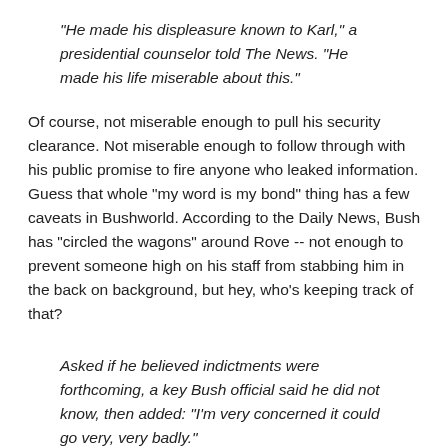"He made his displeasure known to Karl," a presidential counselor told The News. "He made his life miserable about this."
Of course, not miserable enough to pull his security clearance. Not miserable enough to follow through with his public promise to fire anyone who leaked information. Guess that whole "my word is my bond" thing has a few caveats in Bushworld. According to the Daily News, Bush has "circled the wagons" around Rove -- not enough to prevent someone high on his staff from stabbing him in the back on background, but hey, who's keeping track of that?
Asked if he believed indictments were forthcoming, a key Bush official said he did not know, then added: "I'm very concerned it could go very, very badly."
"Karl is fighting for his life," the official added, "but anything he did was done to help George W.